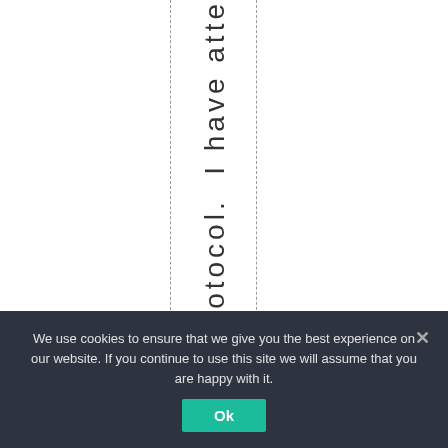Protocol. I have atte
We use cookies to ensure that we give you the best experience on our website. If you continue to use this site we will assume that you are happy with it.
Ok